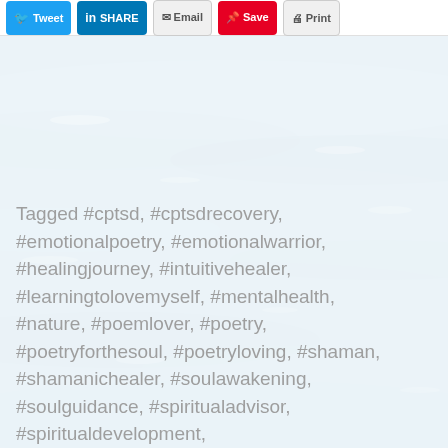Tweet | SHARE | Email | Save | Print
Tagged #cptsd, #cptsdrecovery, #emotionalpoetry, #emotionalwarrior, #healingjourney, #intuitivehealer, #learningtolovemyself, #mentalhealth, #nature, #poemlover, #poetry, #poetryforthesoul, #poetryloving, #shaman, #shamanichealer, #soulawakening, #soulguidance, #spiritualadvisor, #spiritualdevelopment, #spiritualenlightenment, #spiritualguidance, #spiritualjourney, #spirituallifecoach, #spiritualpoetry, #spiritualteacher, #spiritualwarrior, #spiritualwellness,